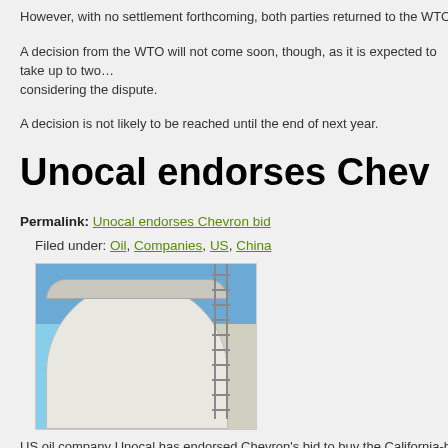However, with no settlement forthcoming, both parties returned to the WTO earlier this y...
A decision from the WTO will not come soon, though, as it is expected to take up to two... considering the dispute.
A decision is not likely to be reached until the end of next year.
Unocal endorses Chev...
Permalink: Unocal endorses Chevron bid
Filed under: Oil, Companies, US, China
[Figure (photo): Photo of a large white cylindrical oil storage tank against a blue sky]
US oil company Unocal has endorsed Chevron's bid to buy the California-based comp...
Conventional wisdom is that Unocal is sticking with the Chevron deal at least partly beca... approve a deal with CNOOC.
The move by the Unocal board came after Chevron raised its bid from $60 per share to...